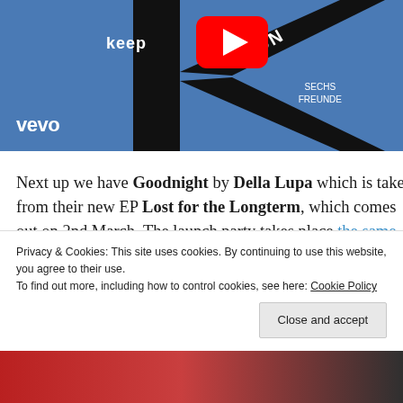[Figure (screenshot): YouTube/Vevo music video thumbnail with blue background, large black K letter shape, YouTube play button icon, 'keep' text, 'SECHS FREUNDE' text, and Vevo logo in white at bottom left]
Next up we have Goodnight by Della Lupa which is taken from their new EP Lost for the Longterm, which comes out on 2nd March. The launch party takes place the same day at Bleach where support comes from fellow
Privacy & Cookies: This site uses cookies. By continuing to use this website, you agree to their use.
To find out more, including how to control cookies, see here: Cookie Policy
[Figure (screenshot): Partial bottom thumbnail image showing colorful content partially visible]